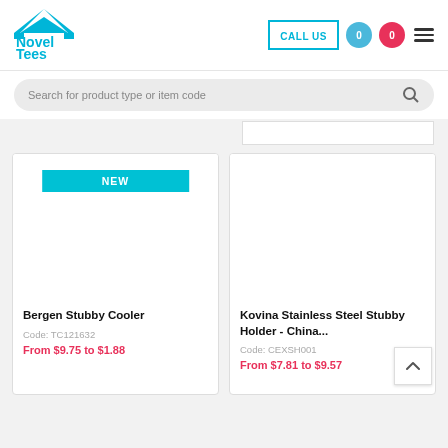[Figure (logo): Novel Tees logo with blue tent/marquee shape above text]
CALL US
0
0
Search for product type or item code
[Figure (screenshot): Sort/filter dropdown box on right side]
NEW
Bergen Stubby Cooler
Code: TC121632
From $9.75 to $1.88
Kovina Stainless Steel Stubby Holder - China...
Code: CEXSH001
From $7.81 to $9.57